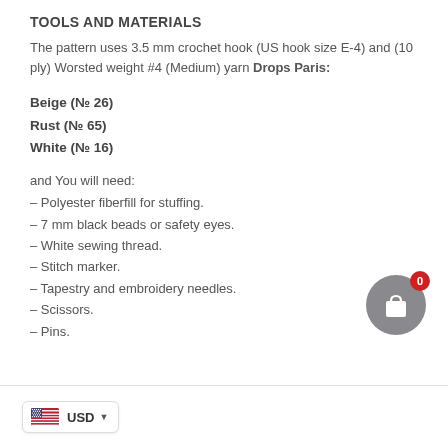TOOLS AND MATERIALS
The pattern uses 3.5 mm crochet hook (US hook size E-4) and (10 ply) Worsted weight #4 (Medium) yarn Drops Paris:
Beige (№ 26)
Rust (№ 65)
White (№ 16)
and You will need:
– Polyester fiberfill for stuffing.
– 7 mm black beads or safety eyes.
– White sewing thread.
– Stitch marker.
– Tapestry and embroidery needles.
– Scissors.
– Pins.
[Figure (infographic): Shopping cart icon button: grey circle with white shopping bag icon, red badge showing '0' in top right corner]
USD ▼ (currency selector with US flag)